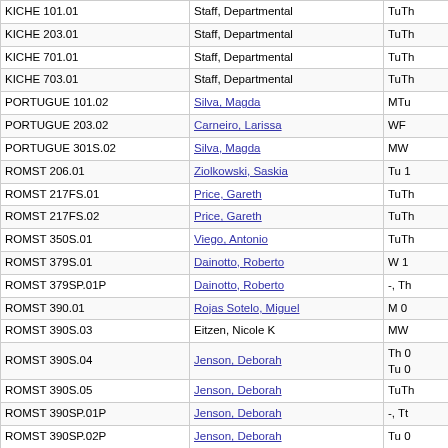| Course | Instructor | Schedule |
| --- | --- | --- |
| KICHE 101.01 | Staff, Departmental | TuTh |
| KICHE 203.01 | Staff, Departmental | TuTh |
| KICHE 701.01 | Staff, Departmental | TuTh |
| KICHE 703.01 | Staff, Departmental | TuTh |
| PORTUGUE 101.02 | Silva, Magda | MTu |
| PORTUGUE 203.02 | Carneiro, Larissa | WF |
| PORTUGUE 301S.02 | Silva, Magda | MW |
| ROMST 206.01 | Ziolkowski, Saskia | Tu 1 |
| ROMST 217FS.01 | Price, Gareth | TuTh |
| ROMST 217FS.02 | Price, Gareth | TuTh |
| ROMST 350S.01 | Viego, Antonio | TuTh |
| ROMST 379S.01 | Dainotto, Roberto | W 1 |
| ROMST 379SP.01P | Dainotto, Roberto | -, Th |
| ROMST 390.01 | Rojas Sotelo, Miguel | M 0 |
| ROMST 390S.03 | Eitzen, Nicole K | MW |
| ROMST 390S.04 | Jenson, Deborah | Th 0
Tu 0 |
| ROMST 390S.05 | Jenson, Deborah | TuTh |
| ROMST 390SP.01P | Jenson, Deborah | -, Tt |
| ROMST 390SP.02P | Jenson, Deborah | Tu 0 |
| ROMST 505S.01 | Gabara, Esther | Th 1 |
| ROMST 505S.02 | Gabara, Esther | Th 1 |
| ROMST 540S.01 | Furtado, Gustavo | TuTh |
| ROMST 540SP.01P | Furtado, Gustavo | -, Th |
| ROMST 590S.01 | Ziolkowski, Saskia | W 0 |
| ROMST 790S.02 | Bassiri, Nima | W 0 |
| ROMST 926S.01 | Armstrong, Nancy | M 0 |